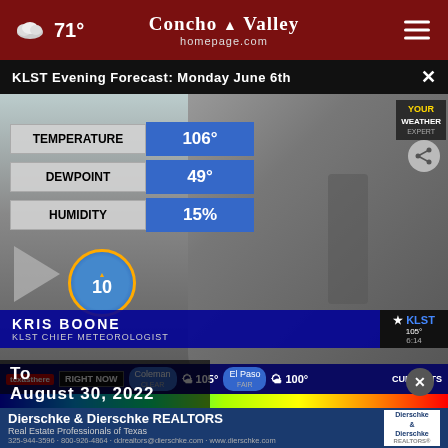71° Concho Valley homepage.com
KLST Evening Forecast: Monday June 6th
[Figure (screenshot): TV broadcast screenshot of KLST weather forecast. Meteorologist Kris Boone (KLST Chief Meteorologist) standing in front of weather graphic showing: TEMPERATURE 106°, DEWPOINT 49°, HUMIDITY 15%. UV index badge showing 10. Bottom ticker shows Coleman 105°, El Paso 100°. KLST logo top right with 105° / 6:14.]
[Figure (photo): Advertisement for Dierschke & Dierschke REALTORS, Real Estate Professionals of Texas. Phone: 325-944-3596 · 800-926-4864. Email: ddrealtors@dierschke.com. Web: www.dierschke.com]
To August 30, 2022